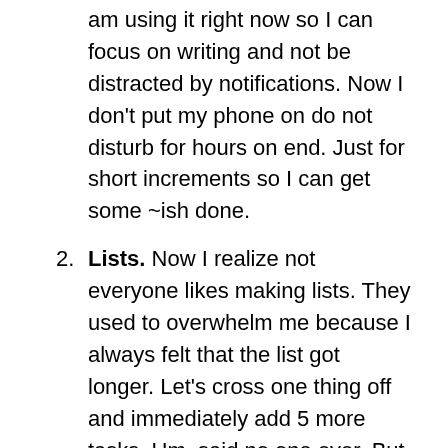am using it right now so I can focus on writing and not be distracted by notifications. Now I don't put my phone on do not disturb for hours on end. Just for short increments so I can get some ~ish done.
Lists. Now I realize not everyone likes making lists. They used to overwhelm me because I always felt that the list got longer. Let's cross one thing off and immediately add 5 more tasks. Um, said no one ever. But when I changed my perspective on why lists are helpful, I was able to let go of the overwhelming thought of the never-ending to-do's. Lists are for me, a brain dump. I recently discovered the Eisenhower Matrix, and it's a game changer. After I dump everything in my head… I can prioritize what's important and non-important, then decide what's